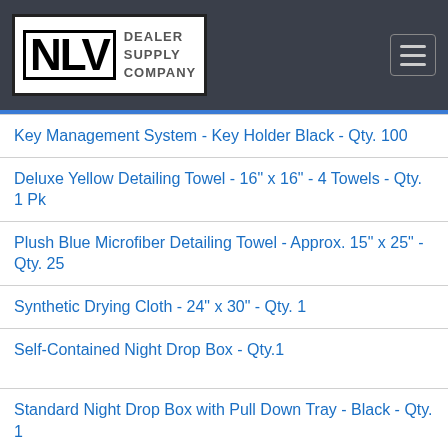NLV Dealer Supply Company
Key Management System - Key Holder Black - Qty. 100
Deluxe Yellow Detailing Towel - 16" x 16" - 4 Towels - Qty. 1 Pk
Plush Blue Microfiber Detailing Towel - Approx. 15" x 25" - Qty. 25
Synthetic Drying Cloth - 24" x 30" - Qty. 1
Self-Contained Night Drop Box - Qty.1
Standard Night Drop Box with Pull Down Tray - Black - Qty. 1
Static Cling Reminders - Custom - BOX of 1000
Static Cling Reminders - Generic - BOX of 100